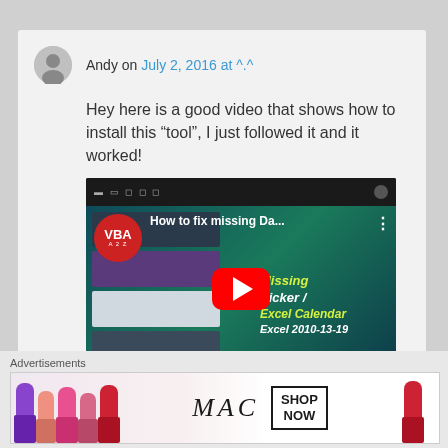Andy on July 2, 2016 at ^.^
Hey here is a good video that shows how to install this “tool”, I just followed it and it worked!
[Figure (screenshot): YouTube video thumbnail for 'How to fix missing Da...' by VBA A2Z channel, showing a play button and text about missing Date Picker / Excel Calendar Excel 2010-13-19]
Advertisements
[Figure (photo): MAC Cosmetics advertisement banner showing lipsticks and SHOP NOW button]